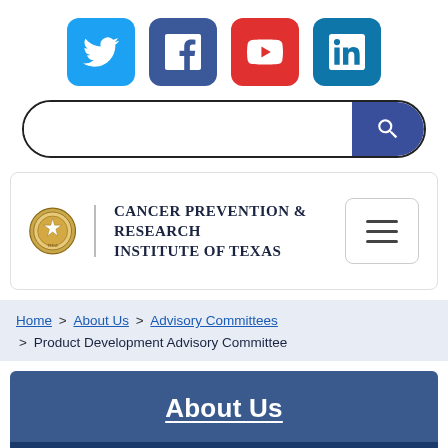[Figure (infographic): Social media icons row: Twitter (blue), Facebook (dark blue), YouTube (red), LinkedIn (teal blue)]
[Figure (other): Search bar with text input and blue search button with magnifying glass icon]
[Figure (logo): Cancer Prevention & Research Institute of Texas logo with Texas state seal and hamburger menu button]
Home > About Us > Advisory Committees > Product Development Advisory Committee
About Us